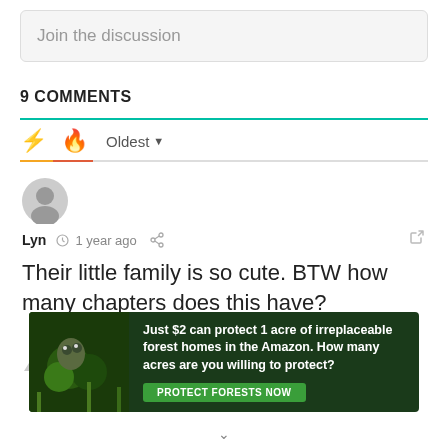Join the discussion
9 COMMENTS
Oldest
[Figure (illustration): Gray avatar circle icon for user Lyn]
Lyn  1 year ago
Their little family is so cute. BTW how many chapters does this have?
[Figure (infographic): Advertisement banner: Just $2 can protect 1 acre of irreplaceable forest homes in the Amazon. How many acres are you willing to protect? PROTECT FORESTS NOW]